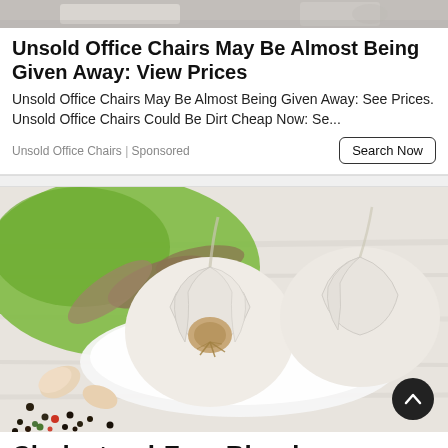[Figure (photo): Top strip of a photo, partially visible at the top of the page (appears to show a scene with a person/hand and some object on a surface).]
Unsold Office Chairs May Be Almost Being Given Away: View Prices
Unsold Office Chairs May Be Almost Being Given Away: See Prices. Unsold Office Chairs Could Be Dirt Cheap Now: Se...
Unsold Office Chairs | Sponsored
[Figure (photo): A close-up photograph of garlic bulbs on a white plate, with bay leaves on a green cloth, and peppercorns scattered on a rustic white wooden surface.]
Cholesterol-Free Blood Vessels:The Simple